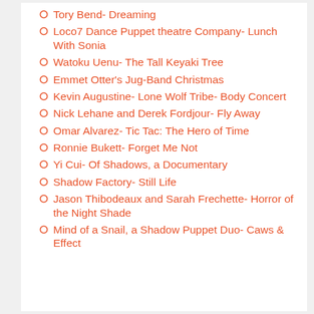Tory Bend- Dreaming
Loco7 Dance Puppet theatre Company- Lunch With Sonia
Watoku Uenu- The Tall Keyaki Tree
Emmet Otter's Jug-Band Christmas
Kevin Augustine- Lone Wolf Tribe- Body Concert
Nick Lehane and Derek Fordjour- Fly Away
Omar Alvarez- Tic Tac: The Hero of Time
Ronnie Bukett- Forget Me Not
Yi Cui- Of Shadows, a Documentary
Shadow Factory- Still Life
Jason Thibodeaux and Sarah Frechette- Horror of the Night Shade
Mind of a Snail, a Shadow Puppet Duo- Caws & Effect